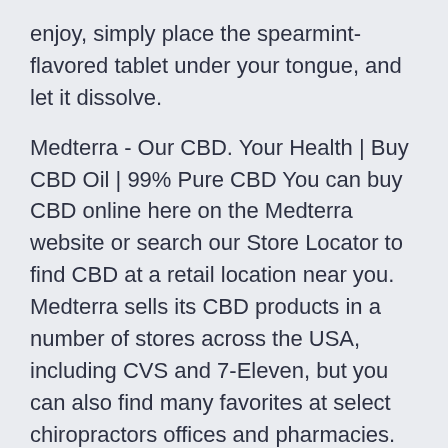enjoy, simply place the spearmint-flavored tablet under your tongue, and let it dissolve.
Medterra - Our CBD. Your Health | Buy CBD Oil | 99% Pure CBD You can buy CBD online here on the Medterra website or search our Store Locator to find CBD at a retail location near you. Medterra sells its CBD products in a number of stores across the USA, including CVS and 7-Eleven, but you can also find many favorites at select chiropractors offices and pharmacies. Mail Order Marijuana and Cannabis | Terra Cannabis - Buy Weed Terra Cannabis is a mail order marijuana and weed shop serving all of Canada. Click here to learn more information on ordering marijuana online.
cbd ölkätzchen